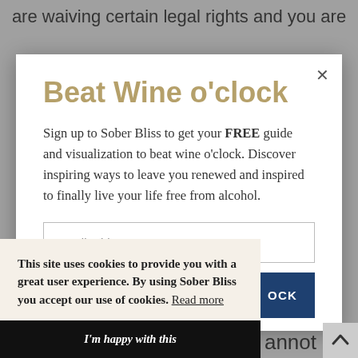are waiving certain legal rights and you are
Beat Wine o'clock
Sign up to Sober Bliss to get your FREE guide and visualization to beat wine o'clock. Discover inspiring ways to leave you renewed and inspired to finally live your life free from alcohol.
Email address
OCK
This site uses cookies to provide you with a great user experience. By using Sober Bliss you accept our use of cookies. Read more
I'm happy with this
annot